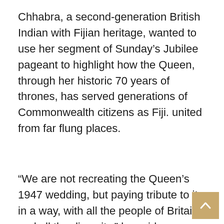Chhabra, a second-generation British Indian with Fijian heritage, wanted to use her segment of Sunday's Jubilee pageant to highlight how the Queen, through her historic 70 years of thrones, has served generations of Commonwealth citizens as Fiji. united from far flung places.
“We are not recreating the Queen’s 1947 wedding, but paying tribute to it in a way, with all the people of Britain and all the diversity,” he said.